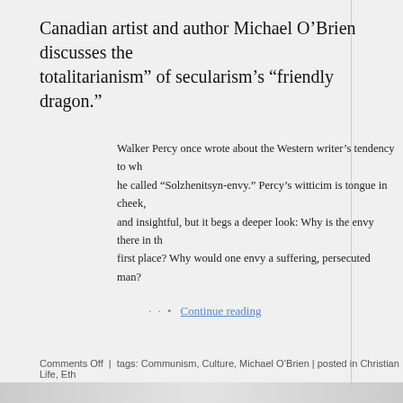Canadian artist and author Michael O’Brien discusses the totalitarianism” of secularism’s “friendly dragon.”
Walker Percy once wrote about the Western writer’s tendency to what he called “Solzhenitsyn-envy.” Percy’s witticim is tongue in cheek, and insightful, but it begs a deeper look: Why is the envy there in the first place? Why would one envy a suffering, persecuted man?
· · • Continue reading
[Figure (screenshot): Share button with Twitter, Facebook, and Google+ icons on a blue gradient background]
Comments Off | tags: Communism, Culture, Michael O’Brien | posted in Christian Life, Eth